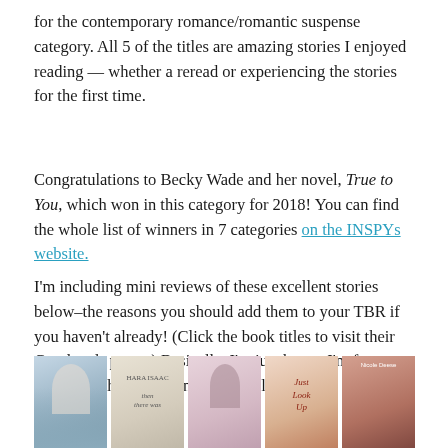for the contemporary romance/romantic suspense category. All 5 of the titles are amazing stories I enjoyed reading — whether a reread or experiencing the stories for the first time.
Congratulations to Becky Wade and her novel, True to You, which won in this category for 2018! You can find the whole list of winners in 7 categories on the INSPYs website.
I'm including mini reviews of these excellent stories below–the reasons you should add them to your TBR if you haven't already! (Click the book titles to visit their Goodreads pages.) Basically, I'm just happy I'm free to gush over the amazingness of this list now!
[Figure (photo): Five book covers shown side by side at the bottom of the page: a blue/grey cover with a woman, a light beige cover with 'then there was' text visible, a pink/mauve cover with a woman's silhouette from behind, an orange/red cover with cursive text appearing to read 'Just Look Up', and a dark warm-toned cover with 'Nicole Deese' author name visible.]